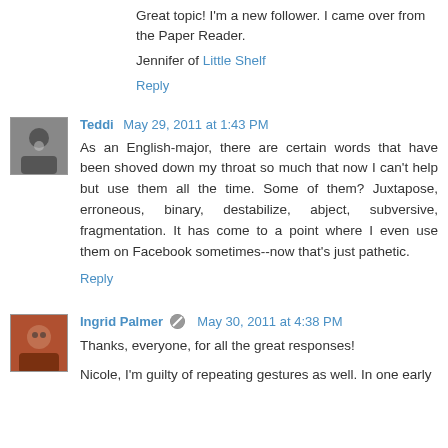Great topic! I'm a new follower. I came over from the Paper Reader.
Jennifer of Little Shelf
Reply
Teddi May 29, 2011 at 1:43 PM
As an English-major, there are certain words that have been shoved down my throat so much that now I can't help but use them all the time. Some of them? Juxtapose, erroneous, binary, destabilize, abject, subversive, fragmentation. It has come to a point where I even use them on Facebook sometimes--now that's just pathetic.
Reply
Ingrid Palmer May 30, 2011 at 4:38 PM
Thanks, everyone, for all the great responses!
Nicole, I'm guilty of repeating gestures as well. In one early